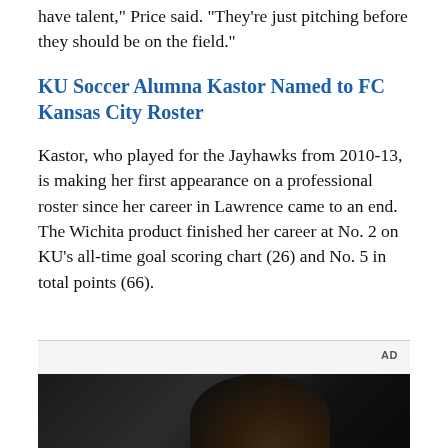have talent," Price said. "They're just pitching before they should be on the field."
KU Soccer Alumna Kastor Named to FC Kansas City Roster
Kastor, who played for the Jayhawks from 2010-13, is making her first appearance on a professional roster since her career in Lawrence came to an end. The Wichita product finished her career at No. 2 on KU's all-time goal scoring chart (26) and No. 5 in total points (66).
[Figure (other): Advertisement box with 'AD' label and a dark photographic image below showing a person inside a vehicle]